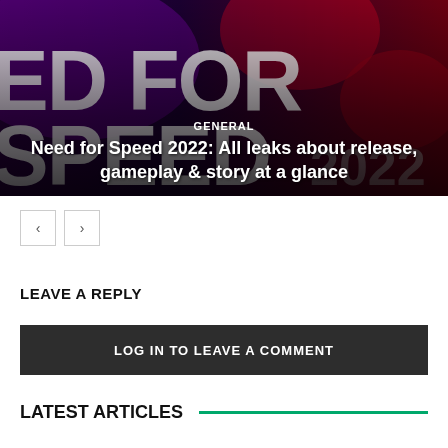[Figure (screenshot): Need for Speed 2022 game promotional hero image with dark purple/red background showing the NFS logo text. Overlay text shows category 'GENERAL' and headline 'Need for Speed 2022: All leaks about release, gameplay & story at a glance']
GENERAL
Need for Speed 2022: All leaks about release, gameplay & story at a glance
LEAVE A REPLY
LOG IN TO LEAVE A COMMENT
LATEST ARTICLES